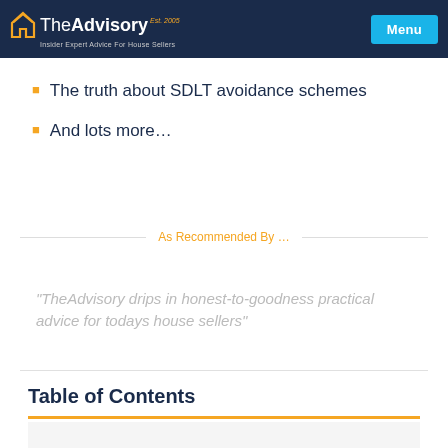TheAdvisory — Insider Expert Advice For House Sellers | Menu
The truth about SDLT avoidance schemes
And lots more…
As Recommended By …
"TheAdvisory drips in honest-to-goodness practical advice for todays house sellers"
Table of Contents